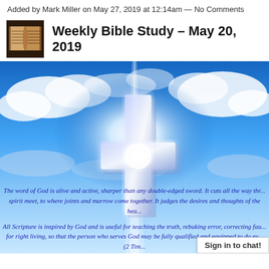Added by Mark Miller on May 27, 2019 at 12:14am — No Comments
Weekly Bible Study – May 20, 2019
[Figure (illustration): A glowing white cross against a blue sky with clouds, with italic blue Scripture text overlay at the bottom: 'The word of God is alive and active, sharper than any double-edged sword. It cuts all the way thr... spirit meet, to where joints and marrow come together. It judges the desires and thoughts of the hea...' and 'All Scripture is inspired by God and is useful for teaching the truth, rebuking error, correcting fau... for right living, so that the person who serves God may be fully qualified and equipped to do ev... (2 Tim...']